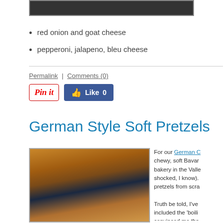[Figure (photo): Top portion of a food photo partially visible at the top of the page]
red onion and goat cheese
pepperoni, jalapeno, bleu cheese
Permalink | Comments (0)
[Figure (infographic): Pin it button and Facebook Like 0 social buttons]
German Style Soft Pretzels
[Figure (photo): Photo of golden brown German soft pretzels on a dark blue surface]
For our German C... chewy, soft Bavar... bakery in the Valle... shocked, I know).... pretzels from scra... Truth be told, I've... included the 'boili... convinced me tha... better finished pro... experience I'm all